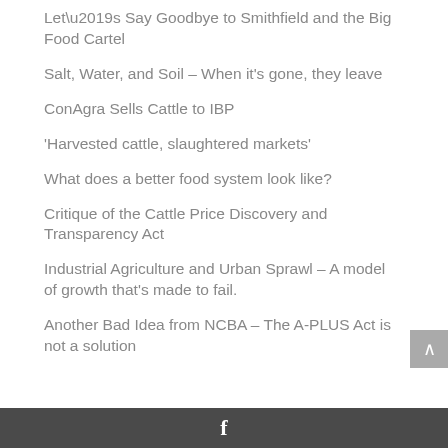Let’s Say Goodbye to Smithfield and the Big Food Cartel
Salt, Water, and Soil – When it’s gone, they leave
ConAgra Sells Cattle to IBP
‘Harvested cattle, slaughtered markets’
What does a better food system look like?
Critique of the Cattle Price Discovery and Transparency Act
Industrial Agriculture and Urban Sprawl – A model of growth that’s made to fail.
Another Bad Idea from NCBA – The A-PLUS Act is not a solution
f